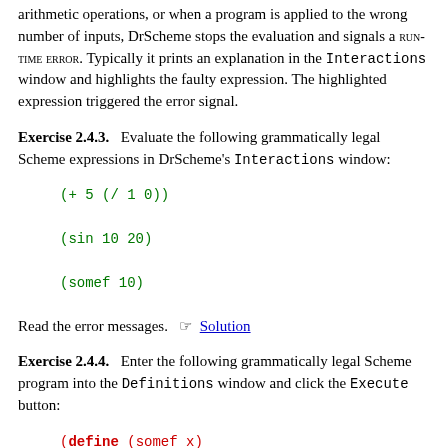arithmetic operations, or when a program is applied to the wrong number of inputs, DrScheme stops the evaluation and signals a RUN-TIME ERROR. Typically it prints an explanation in the Interactions window and highlights the faulty expression. The highlighted expression triggered the error signal.
Exercise 2.4.3.   Evaluate the following grammatically legal Scheme expressions in DrScheme's Interactions window:
(+ 5 (/ 1 0))
(sin 10 20)
(somef 10)
Read the error messages.  ☞  Solution
Exercise 2.4.4.   Enter the following grammatically legal Scheme program into the Definitions window and click the Execute button:
(define (somef x)
  (sin x x))
Then, in the Interactions window, evaluate the